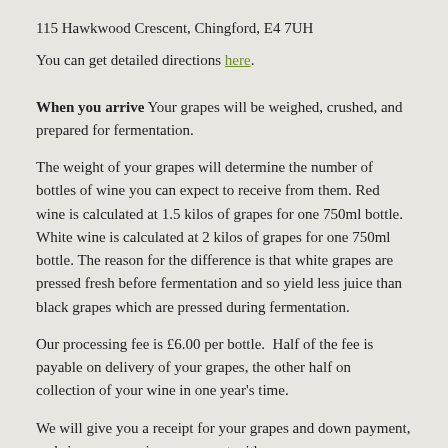115 Hawkwood Crescent, Chingford, E4 7UH
You can get detailed directions here.
When you arrive Your grapes will be weighed, crushed, and prepared for fermentation.
The weight of your grapes will determine the number of bottles of wine you can expect to receive from them. Red wine is calculated at 1.5 kilos of grapes for one 750ml bottle. White wine is calculated at 2 kilos of grapes for one 750ml bottle. The reason for the difference is that white grapes are pressed fresh before fermentation and so yield less juice than black grapes which are pressed during fermentation.
Our processing fee is £6.00 per bottle.  Half of the fee is payable on delivery of your grapes, the other half on collection of your wine in one year's time.
We will give you a receipt for your grapes and down payment, and sign a processing agreement with you.